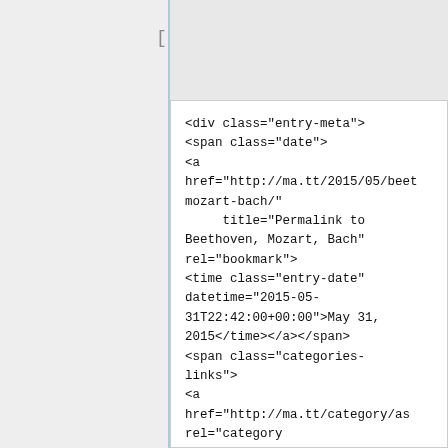[Figure (screenshot): Screenshot of HTML source code showing a div with class entry-meta containing span elements for date, categories-links, and author vcard, along with anchor tags and a time element.]